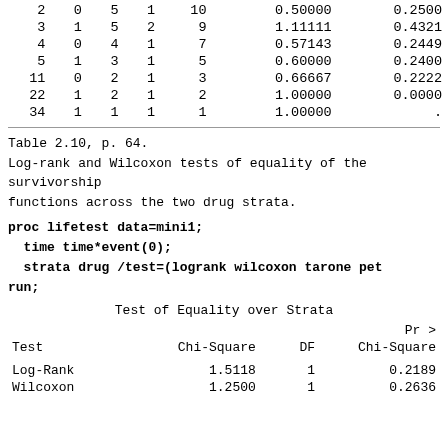|  |  |  |  |  |  |  |
| --- | --- | --- | --- | --- | --- | --- |
| 2 | 0 | 5 | 1 | 10 | 0.50000 | 0.2500 |
| 3 | 1 | 5 | 2 | 9 | 1.11111 | 0.4321 |
| 4 | 0 | 4 | 1 | 7 | 0.57143 | 0.2449 |
| 5 | 1 | 3 | 1 | 5 | 0.60000 | 0.2400 |
| 11 | 0 | 2 | 1 | 3 | 0.66667 | 0.2222 |
| 22 | 1 | 2 | 1 | 2 | 1.00000 | 0.0000 |
| 34 | 1 | 1 | 1 | 1 | 1.00000 | . |
Table 2.10, p. 64.
Log-rank and Wilcoxon tests of equality of the survivorship functions across the two drug strata.
proc lifetest data=mini1;
   time time*event(0);
   strata drug /test=(logrank wilcoxon tarone pet
run;
Test of Equality over Strata
| Test | Chi-Square | DF | Pr > Chi-Square |
| --- | --- | --- | --- |
| Log-Rank | 1.5118 | 1 | 0.2189 |
| Wilcoxon | 1.2500 | 1 | 0.2636 |